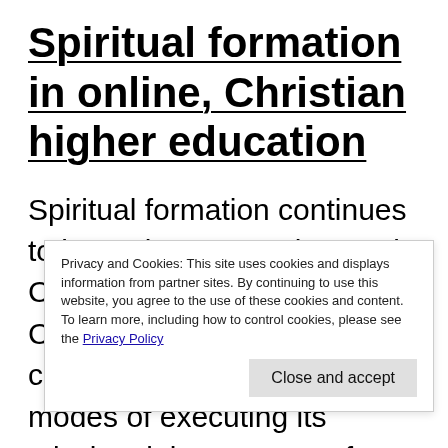Spiritual formation in online, Christian higher education
Spiritual formation continues to be an important element in Christian education. As Christian education continues to explore online modes of executing its mission, it is necessary f... t... i... mission.
Privacy and Cookies: This site uses cookies and displays information from partner sites. By continuing to use this website, you agree to the use of these cookies and content. To learn more, including how to control cookies, please see the Privacy Policy